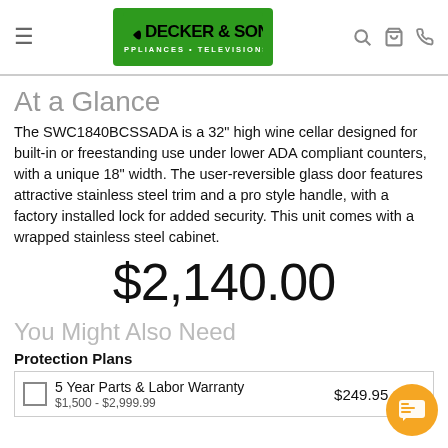[Figure (logo): Decker & Sons Appliances Televisions logo on green background]
At a Glance
The SWC1840BCSSADA is a 32" high wine cellar designed for built-in or freestanding use under lower ADA compliant counters, with a unique 18" width. The user-reversible glass door features attractive stainless steel trim and a pro style handle, with a factory installed lock for added security. This unit comes with a wrapped stainless steel cabinet.
$2,140.00
You Might Also Need
Protection Plans
|  | Description | Price | Qty |
| --- | --- | --- | --- |
|  | 5 Year Parts & Labor Warranty $1,500 - $2,999.99 | $249.95 | x 1 |